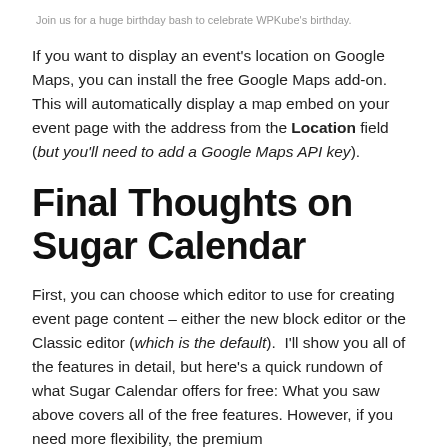Join us for a huge birthday bash to celebrate WPKube's birthday.
If you want to display an event's location on Google Maps, you can install the free Google Maps add-on. This will automatically display a map embed on your event page with the address from the Location field (but you'll need to add a Google Maps API key).
Final Thoughts on Sugar Calendar
First, you can choose which editor to use for creating event page content – either the new block editor or the Classic editor (which is the default).  I'll show you all of the features in detail, but here's a quick rundown of what Sugar Calendar offers for free: What you saw above covers all of the free features. However, if you need more flexibility, the premium